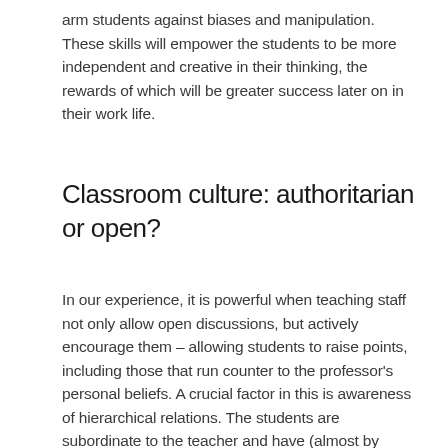arm students against biases and manipulation. These skills will empower the students to be more independent and creative in their thinking, the rewards of which will be greater success later on in their work life.
Classroom culture: authoritarian or open?
In our experience, it is powerful when teaching staff not only allow open discussions, but actively encourage them – allowing students to raise points, including those that run counter to the professor's personal beliefs. A crucial factor in this is awareness of hierarchical relations. The students are subordinate to the teacher and have (almost by definition) less knowledge and experience of the topics. Thus, unsurprisingly, many students are